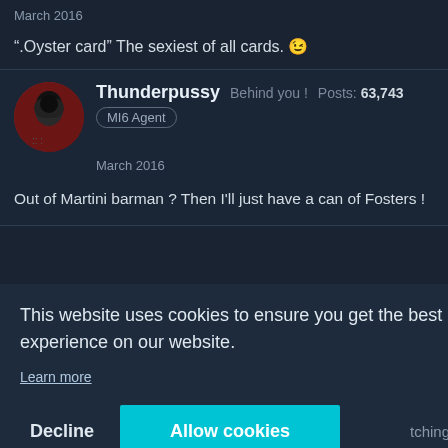March 2016
".Oyster card" The sexiest of all cards. 😉
[Figure (photo): User avatar thumbnail showing a person in dark clothing]
Thunderpussy   Behind you !   Posts: 63,743
MI6 Agent
March 2016
Out of Martini barman ? Then I'll just have a can of Fosters !
This website uses cookies to ensure you get the best experience on our website.
Learn more
Decline   Allow cookies